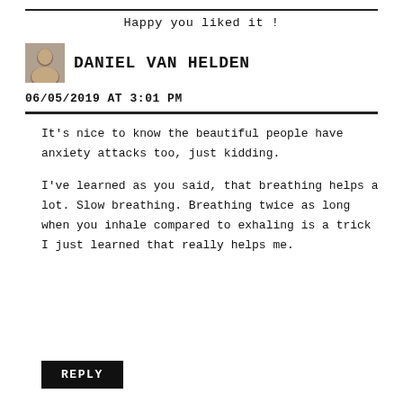Happy you liked it !
DANIEL VAN HELDEN
06/05/2019 AT 3:01 PM
It’s nice to know the beautiful people have anxiety attacks too, just kidding.
I’ve learned as you said, that breathing helps a lot. Slow breathing. Breathing twice as long when you inhale compared to exhaling is a trick I just learned that really helps me.
REPLY